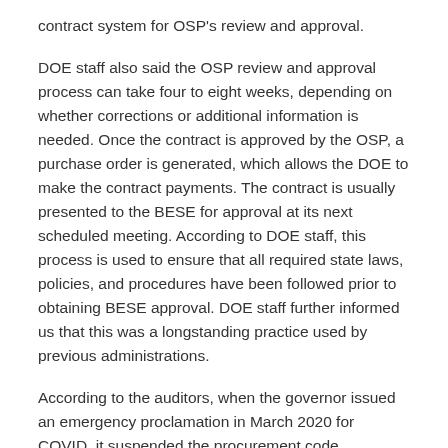contract system for OSP's review and approval.
DOE staff also said the OSP review and approval process can take four to eight weeks, depending on whether corrections or additional information is needed. Once the contract is approved by the OSP, a purchase order is generated, which allows the DOE to make the contract payments. The contract is usually presented to the BESE for approval at its next scheduled meeting. According to DOE staff, this process is used to ensure that all required state laws, policies, and procedures have been followed prior to obtaining BESE approval. DOE staff further informed us that this was a longstanding practice used by previous administrations.
According to the auditors, when the governor issued an emergency proclamation in March 2020 for COVID, it suspended the procurement code requirements. It did not, however, suspend BESE's rule to require BESE's approval for any contract worth more than $50,000, the audit said.